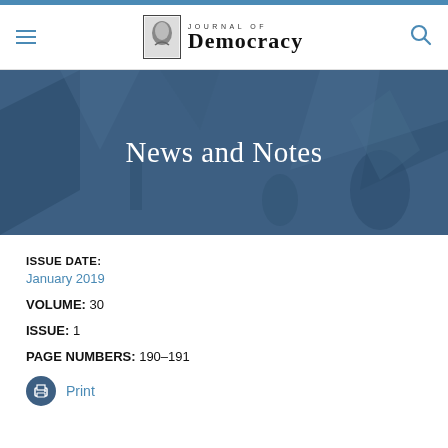Journal of Democracy
[Figure (illustration): Hero banner with blue background showing abstract decorative imagery and the text 'News and Notes']
News and Notes
ISSUE DATE:
January 2019
VOLUME: 30
ISSUE: 1
PAGE NUMBERS: 190-191
Print